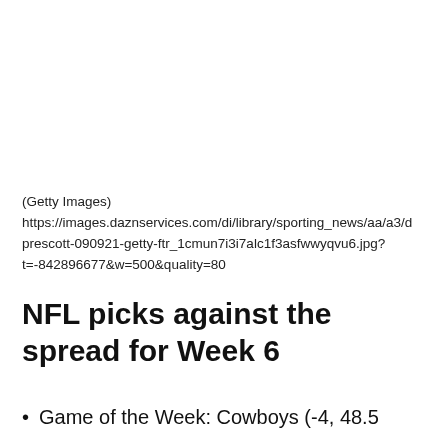(Getty Images)
https://images.daznservices.com/di/library/sporting_news/aa/a3/prescott-090921-getty-ftr_1cmun7i3i7alc1f3asfwwyqvu6.jpg?t=-842896677&w=500&quality=80
NFL picks against the spread for Week 6
Game of the Week: Cowboys (-4, 48.5